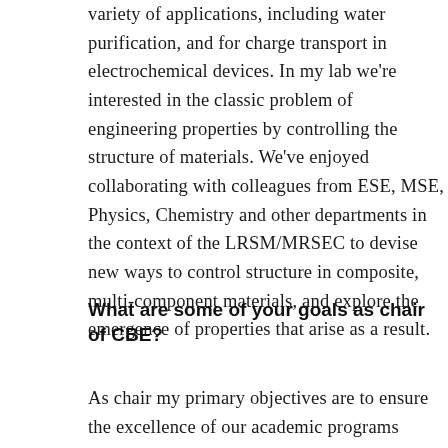variety of applications, including water purification, and for charge transport in electrochemical devices. In my lab we're interested in the classic problem of engineering properties by controlling the structure of materials. We've enjoyed collaborating with colleagues from ESE, MSE, Physics, Chemistry and other departments in the context of the LRSM/MRSEC to devise new ways to control structure in composite, multi-component materials, and explore the emergence of properties that arise as a result.
What are some of your goals as chair of CBE?
As chair my primary objectives are to ensure the excellence of our academic programs